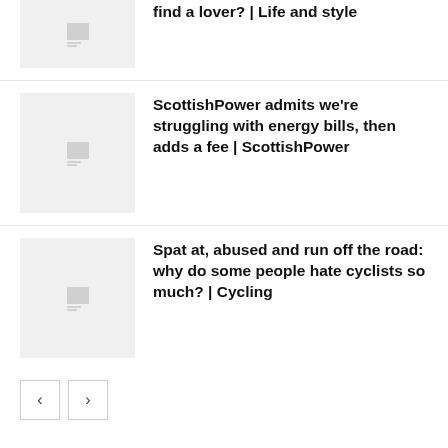find a lover? | Life and style
ScottishPower admits we're struggling with energy bills, then adds a fee | ScottishPower
Spat at, abused and run off the road: why do some people hate cyclists so much? | Cycling
< >
LEAVE A REPLY
Comment: